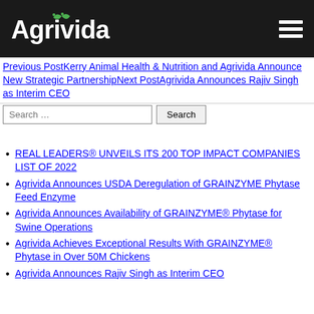[Figure (logo): Agrivida logo with white text on black background and hamburger menu icon]
Previous PostKerry Animal Health & Nutrition and Agrivida Announce New Strategic PartnershipNext PostAgrivida Announces Rajiv Singh as Interim CEO
Search …  Search
REAL LEADERS® UNVEILS ITS 200 TOP IMPACT COMPANIES LIST OF 2022
Agrivida Announces USDA Deregulation of GRAINZYME Phytase Feed Enzyme
Agrivida Announces Availability of GRAINZYME® Phytase for Swine Operations
Agrivida Achieves Exceptional Results With GRAINZYME® Phytase in Over 50M Chickens
Agrivida Announces Rajiv Singh as Interim CEO